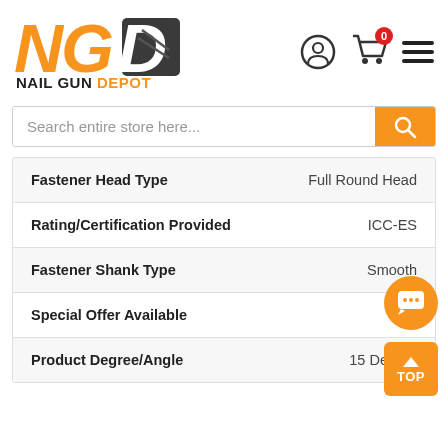[Figure (logo): NGD Nail Gun Depot logo with orange NG letters, dark D block, and NAIL GUN DEPOT text below]
Search entire store here...
| Attribute | Value |
| --- | --- |
| Fastener Head Type | Full Round Head |
| Rating/Certification Provided | ICC-ES |
| Fastener Shank Type | Smooth |
| Special Offer Available | No |
| Product Degree/Angle | 15 Degree |